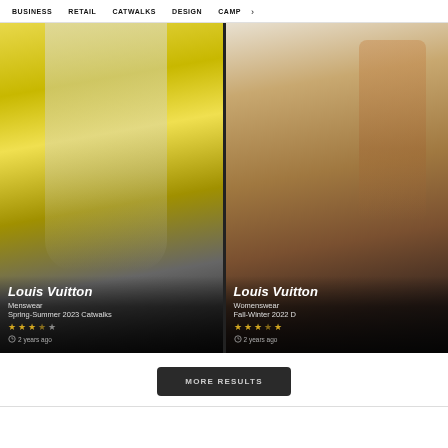BUSINESS  RETAIL  CATWALKS  DESIGN  CAMP >
[Figure (photo): Left card: Louis Vuitton Menswear Spring-Summer 2023 Catwalks. Model in white coat against yellow background, holding a bag. Rating: 3.5 stars. 2 years ago.]
[Figure (photo): Right card: Louis Vuitton Womenswear Fall-Winter 2022 D. Close-up of Louis Vuitton monogram bag with tan leather strap. Rating: 4.5 stars. 2 years ago.]
MORE RESULTS